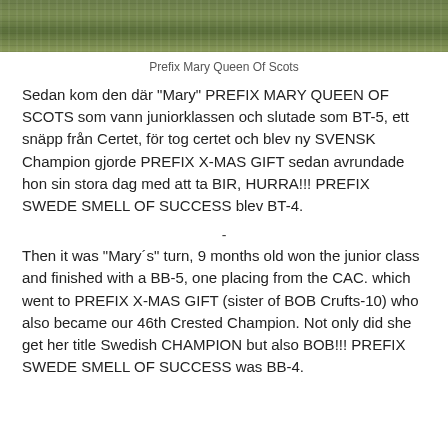[Figure (photo): Partial photo of a dog in grass, cropped at the top of the page]
Prefix Mary Queen Of Scots
Sedan kom den där "Mary" PREFIX MARY QUEEN OF SCOTS som vann juniorklassen och slutade som BT-5, ett snäpp från Certet, för tog certet och blev ny SVENSK Champion gjorde PREFIX X-MAS GIFT sedan avrundade hon sin stora dag med att ta BIR, HURRA!!! PREFIX SWEDE SMELL OF SUCCESS blev BT-4.
Then it was "Mary´s" turn, 9 months old won the junior class and finished with a BB-5, one placing from the CAC. which went to PREFIX X-MAS GIFT (sister of BOB Crufts-10) who also became our 46th Crested Champion. Not only did she get her title Swedish CHAMPION but also BOB!!! PREFIX SWEDE SMELL OF SUCCESS was BB-4.